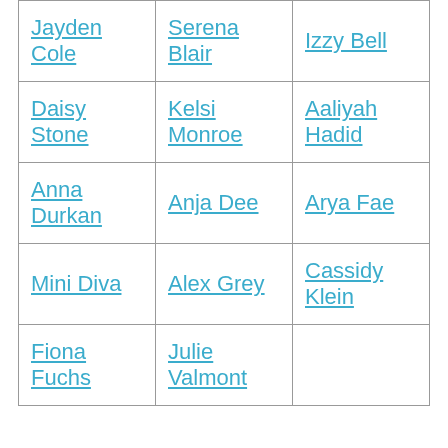| Jayden Cole | Serena Blair | Izzy Bell |
| Daisy Stone | Kelsi Monroe | Aaliyah Hadid |
| Anna Durkan | Anja Dee | Arya Fae |
| Mini Diva | Alex Grey | Cassidy Klein |
| Fiona Fuchs | Julie Valmont |  |